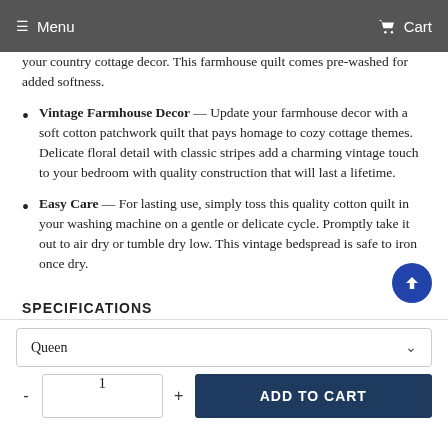≡ Menu   🛒 Cart
your country cottage decor. This farmhouse quilt comes pre-washed for added softness.
Vintage Farmhouse Decor — Update your farmhouse decor with a soft cotton patchwork quilt that pays homage to cozy cottage themes. Delicate floral detail with classic stripes add a charming vintage touch to your bedroom with quality construction that will last a lifetime.
Easy Care — For lasting use, simply toss this quality cotton quilt in your washing machine on a gentle or delicate cycle. Promptly take it out to air dry or tumble dry low. This vintage bedspread is safe to iron once dry.
SPECIFICATIONS